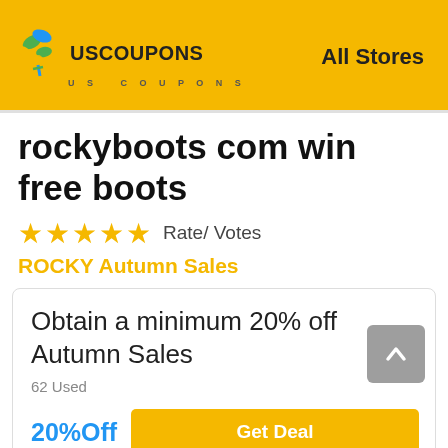[Figure (logo): US Coupons logo with colorful leaf/person icon and bold text 'US COUPONS' with subtitle 'US COUPONS' in spaced letters]
All Stores
rockyboots com win free boots
★★★★★ Rate/ Votes
ROCKY Autumn Sales
Obtain a minimum 20% off Autumn Sales
62 Used
20%Off
Get Deal